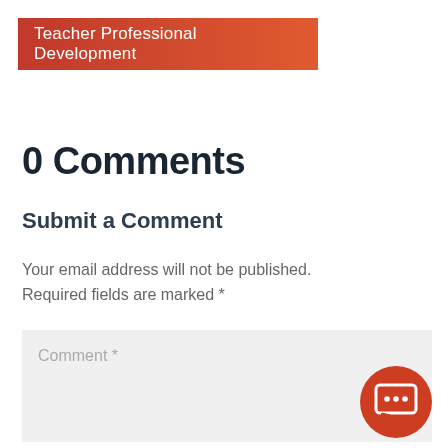Teacher Professional Development
0 Comments
Submit a Comment
Your email address will not be published. Required fields are marked *
Comment *